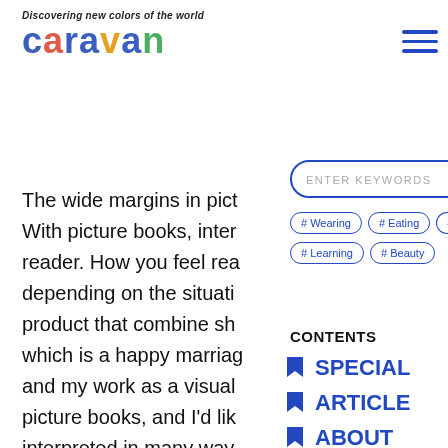Discovering new colors of the world
caravan
The wide margins in pict
With picture books, inter
reader. How you feel rea
depending on the situati
product that combine sh
which is a happy marriag
and my work as a visual
picture books, and I'd lik
interpreted in many way
picture books is really w
people joy are great. I al
satisfied with my work b
[Figure (screenshot): Search box with placeholder text ENTER KEYWORDS, and hashtag filter pills: #Wearing, #Eating, #H..., #Learning, #Beauty]
CONTENTS
SPECIAL
ARTICLE
ABOUT